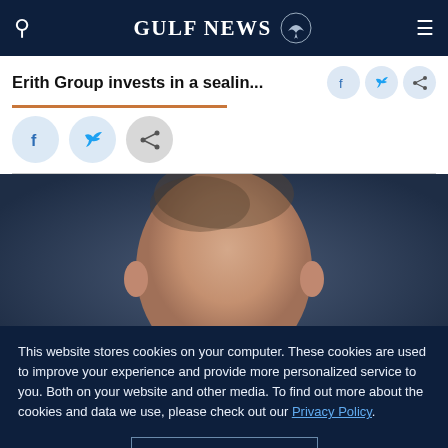GULF NEWS
Erith Group invests in a sealin...
[Figure (photo): Portrait photo of a bald man, head and upper body visible, against a grey-blue background. The lower portion is partially obscured by a cookie consent overlay.]
This website stores cookies on your computer. These cookies are used to improve your experience and provide more personalized service to you. Both on your website and other media. To find out more about the cookies and data we use, please check out our Privacy Policy.